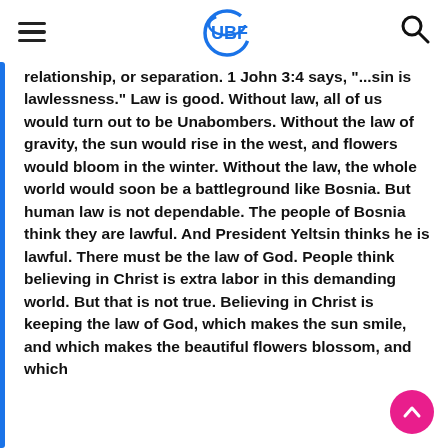UBF
relationship, or separation. 1 John 3:4 says, "...sin is lawlessness." Law is good. Without law, all of us would turn out to be Unabombers. Without the law of gravity, the sun would rise in the west, and flowers would bloom in the winter. Without the law, the whole world would soon be a battleground like Bosnia. But human law is not dependable. The people of Bosnia think they are lawful. And President Yeltsin thinks he is lawful. There must be the law of God. People think believing in Christ is extra labor in this demanding world. But that is not true. Believing in Christ is keeping the law of God, which makes the sun smile, and which makes the beautiful flowers blossom, and which